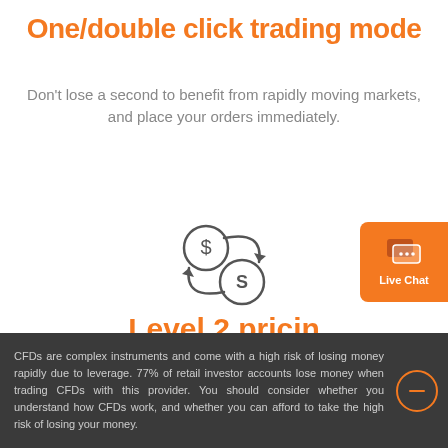One/double click trading mode
Don't lose a second to benefit from rapidly moving markets, and place your orders immediately.
[Figure (illustration): Two circular coin icons with arrows indicating exchange/trading — a dollar coin and an S coin with curved arrows cycling between them]
[Figure (other): Orange Live Chat button with chat bubble icon and 'Live Chat' label]
Level 2 pricing
CFDs are complex instruments and come with a high risk of losing money rapidly due to leverage. 77% of retail investor accounts lose money when trading CFDs with this provider. You should consider whether you understand how CFDs work, and whether you can afford to take the high risk of losing your money.